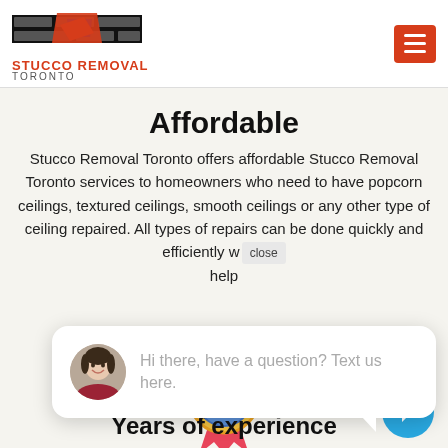STUCCO REMOVAL TORONTO
Affordable
Stucco Removal Toronto offers affordable Stucco Removal Toronto services to homeowners who need to have popcorn ceilings, textured ceilings, smooth ceilings or any other type of ceiling repaired. All types of repairs can be done quickly and efficiently w close help
Hi there, have a question? Text us here.
[Figure (illustration): Award/medal badge icon with ribbon]
Years of experience